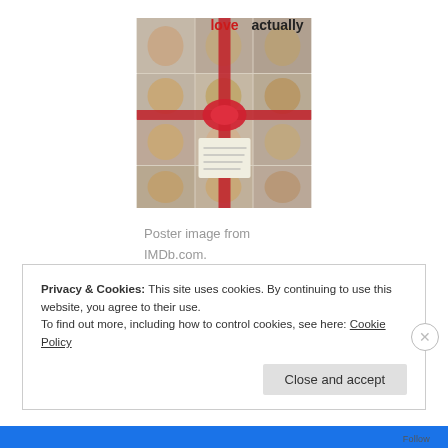[Figure (illustration): Movie poster for 'Love Actually' showing a grid of actors' faces with a red ribbon wrapping around them like a gift box. The title 'love actually' appears at the top in red and black text.]
Poster image from IMDb.com.
Privacy & Cookies: This site uses cookies. By continuing to use this website, you agree to their use.
To find out more, including how to control cookies, see here: Cookie Policy
Close and accept